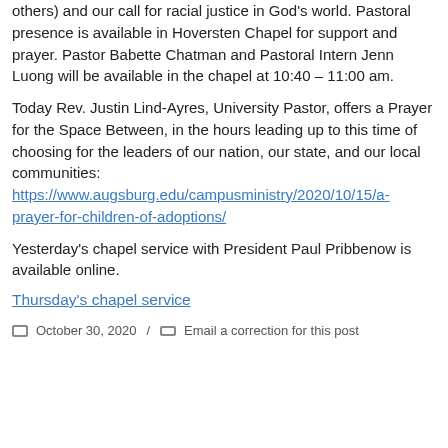others) and our call for racial justice in God's world. Pastoral presence is available in Hoversten Chapel for support and prayer. Pastor Babette Chatman and Pastoral Intern Jenn Luong will be available in the chapel at 10:40 – 11:00 am.
Today Rev. Justin Lind-Ayres, University Pastor, offers a Prayer for the Space Between, in the hours leading up to this time of choosing for the leaders of our nation, our state, and our local communities: https://www.augsburg.edu/campusministry/2020/10/15/a-prayer-for-children-of-adoptions/
Yesterday's chapel service with President Paul Pribbenow is available online.
Thursday's chapel service
October 30, 2020 / Email a correction for this post